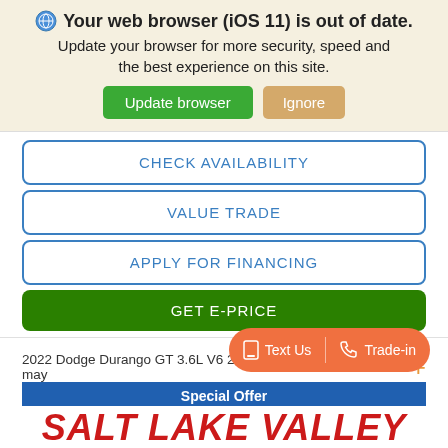🌐 Your web browser (iOS 11) is out of date. Update your browser for more security, speed and the best experience on this site.
Update browser | Ignore
CHECK AVAILABILITY
VALUE TRADE
APPLY FOR FINANCING
GET E-PRICE
2022 Dodge Durango GT 3.6L V6 24V VVT AWD 0% Offers may +
Text Us | Trade-in
Special Offer
SALT LAKE VALLEY